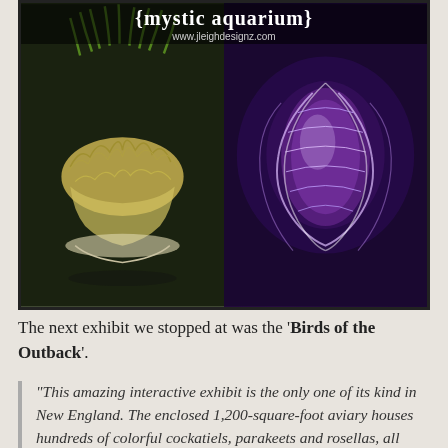[Figure (photo): Collage photo with '{mystic aquarium}' and 'www.jleighdesignz.com' text overlay at top. Left half shows a jellyfish with green plant-like tendrils on dark background. Right half shows a glowing purple/pink jellyfish-like creature on deep purple background.]
The next exhibit we stopped at was the 'Birds of the Outback'.
“This amazing interactive exhibit is the only one of its kind in New England. The enclosed 1,200-square-foot aviary houses hundreds of colorful cockatiels, parakeets and rosellas, all native to Australia. With the $3 exhibit entry fee (plus